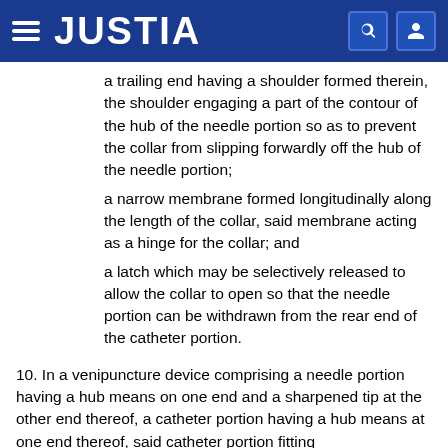JUSTIA
a trailing end having a shoulder formed therein, the shoulder engaging a part of the contour of the hub of the needle portion so as to prevent the collar from slipping forwardly off the hub of the needle portion;
a narrow membrane formed longitudinally along the length of the collar, said membrane acting as a hinge for the collar; and
a latch which may be selectively released to allow the collar to open so that the needle portion can be withdrawn from the rear end of the catheter portion.
10. In a venipuncture device comprising a needle portion having a hub means on one end and a sharpened tip at the other end thereof, a catheter portion having a hub means at one end thereof, said catheter portion fitting